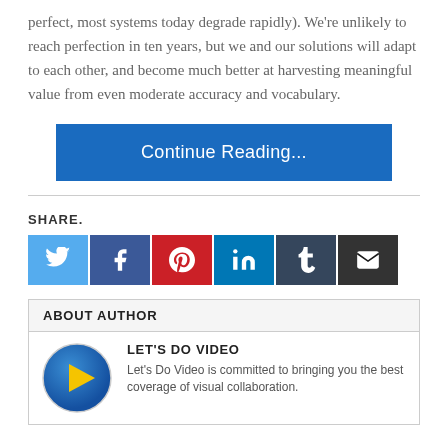perfect, most systems today degrade rapidly). We’re unlikely to reach perfection in ten years, but we and our solutions will adapt to each other, and become much better at harvesting meaningful value from even moderate accuracy and vocabulary.
Continue Reading...
SHARE.
[Figure (infographic): Row of six social media share icons: Twitter (light blue), Facebook (dark blue), Pinterest (red), LinkedIn (cyan-blue), Tumblr (dark navy), Email (dark gray)]
ABOUT AUTHOR
[Figure (logo): Let's Do Video circular logo with blue gradient background and yellow play button triangle in center]
LET'S DO VIDEO
Let’s Do Video is committed to bringing you the best coverage of visual collaboration.